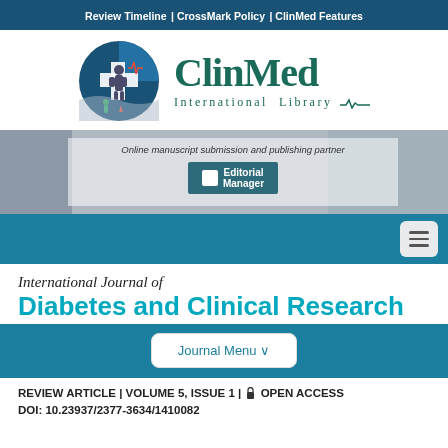Review Timeline | CrossMark Policy | ClinMed Features
[Figure (logo): ClinMed International Library logo with circular medical icon and text]
[Figure (screenshot): Banner showing 'Online manuscript submission and publishing partner' with Editorial Manager button]
[Figure (other): Navigation bar with hamburger menu icon]
International Journal of Diabetes and Clinical Research
[Figure (other): Journal Menu button on teal background bar]
REVIEW ARTICLE | VOLUME 5, ISSUE 1 | OPEN ACCESS   DOI: 10.23937/2377-3634/1410082